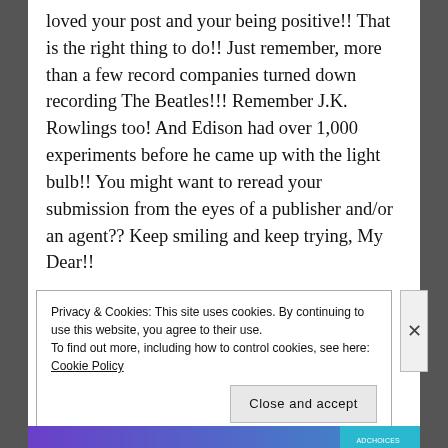loved your post and your being positive!! That is the right thing to do!! Just remember, more than a few record companies turned down recording The Beatles!!! Remember J.K. Rowlings too! And Edison had over 1,000 experiments before he came up with the light bulb!! You might want to reread your submission from the eyes of a publisher and/or an agent?? Keep smiling and keep trying, My Dear!!

xoxoxo
Privacy & Cookies: This site uses cookies. By continuing to use this website, you agree to their use.
To find out more, including how to control cookies, see here: Cookie Policy
Close and accept